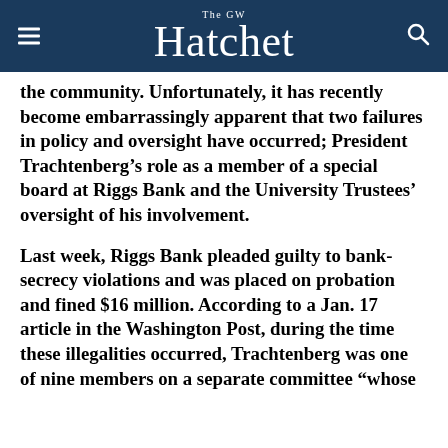The GW Hatchet
the community. Unfortunately, it has recently become embarrassingly apparent that two failures in policy and oversight have occurred; President Trachtenberg’s role as a member of a special board at Riggs Bank and the University Trustees’ oversight of his involvement.
Last week, Riggs Bank pleaded guilty to bank-secrecy violations and was placed on probation and fined $16 million. According to a Jan. 17 article in the Washington Post, during the time these illegalities occurred, Trachtenberg was one of nine members on a separate committee “whose